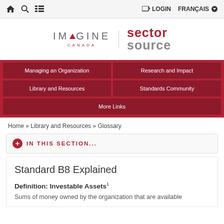Home | Search | Menu | LOGIN | FRANÇAIS
[Figure (logo): Imagine Canada and Sector Source combined logo]
Managing an Organization | Research and Impact | Library and Resources | Standards Community | More Links
Home » Library and Resources » Glossary
IN THIS SECTION...
Standard B8 Explained
Definition: Investable Assets¹
Sums of money owned by the organization that are available...